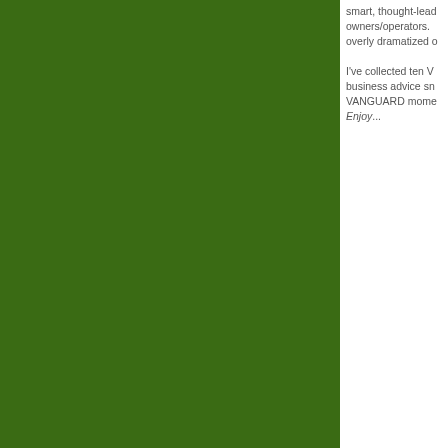[Figure (illustration): Large dark green rectangular panel occupying the left approximately three-quarters of the page]
smart, thought-leading owners/operators. overly dramatized o
I've collected ten V business advice sn VANGUARD mome Enjoy...